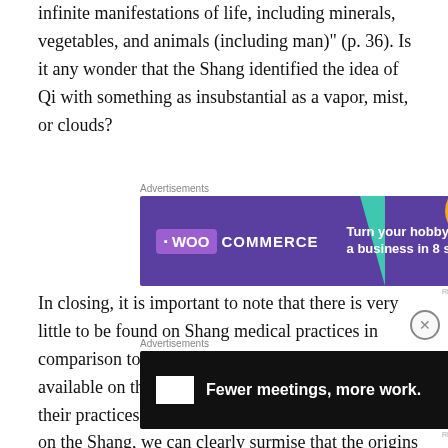infinite manifestations of life, including minerals, vegetables, and animals (including man)" (p. 36). Is it any wonder that the Shang identified the idea of Qi with something as insubstantial as a vapor, mist, or clouds?
[Figure (other): WooCommerce advertisement banner: purple background with teal triangle and orange/blue shapes. Text reads 'Turn your hobby into a business in 8 steps']
In closing, it is important to note that there is very little to be found on Shang medical practices in comparison to the wealth of information that is available on the later Chinese dynastic orders and their practices. But from what little there is to find on the Shang, we can clearly surmise that the origins of Chinese Medicine extend far into the past
[Figure (other): F2 (Fellow) advertisement banner: black background. Text reads 'Fewer meetings, more work.']